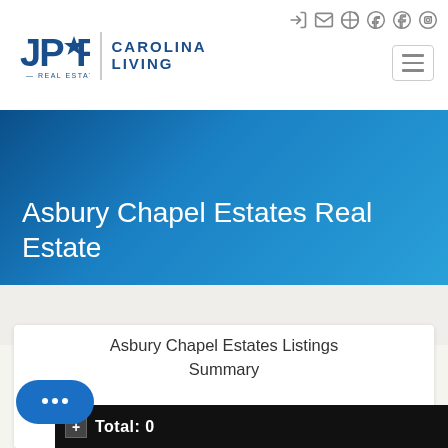[Figure (logo): JPAR Real Estate Carolina Living logo with star icon]
Asbury Chapel Estates Real Estate
Asbury Chapel Estates Listings Summary
Total: 0